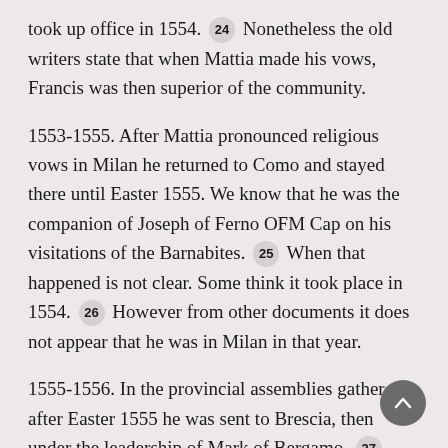took up office in 1554. [24] Nonetheless the old writers state that when Mattia made his vows, Francis was then superior of the community.
1553-1555. After Mattia pronounced religious vows in Milan he returned to Como and stayed there until Easter 1555. We know that he was the companion of Joseph of Ferno OFM Cap on his visitations of the Barnabites. [25] When that happened is not clear. Some think it took place in 1554. [26] However from other documents it does not appear that he was in Milan in that year.
1555-1556. In the provincial assemblies gathered after Easter 1555 he was sent to Brescia, then under the leadership of Mark of Bergamo. [27]
1556. Then because of poor health, as the